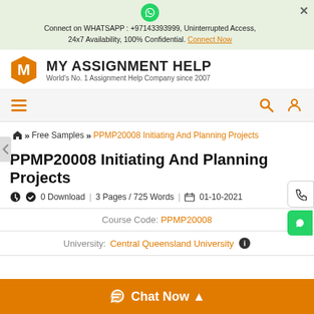Connect on WHATSAPP : +97143393999, Uninterrupted Access, 24x7 Availability, 100% Confidential. Connect Now
[Figure (logo): My Assignment Help logo with hexagon M icon and brand name]
MY ASSIGNMENT HELP - World's No. 1 Assignment Help Company since 2007
Navigation bar with hamburger menu and search/profile icons
Home >> Free Samples >> PPMP20008 Initiating And Planning Projects
PPMP20008 Initiating And Planning Projects
0 Download | 3 Pages / 725 Words | 01-10-2021
Course Code: PPMP20008
University: Central Queensland University
Chat Now